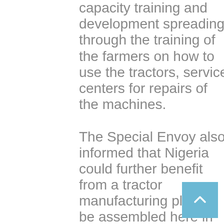capacity training and development spreading through the training of the farmers on how to use the tractors, service centers for repairs of the machines.

The Special Envoy also informed that Nigeria could further benefit from a tractor manufacturing plant to be assembled here in the country consequently after an